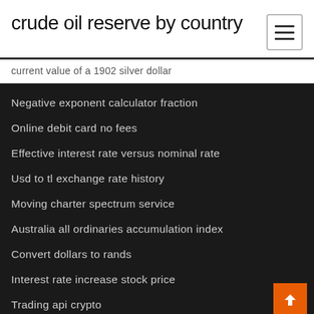crude oil reserve by country
current value of a 1902 silver dollar
Negative exponent calculator fraction
Online debit card no fees
Effective interest rate versus nominal rate
Usd to tl exchange rate history
Moving charter spectrum service
Australia all ordinaries accumulation index
Convert dollars to rands
Interest rate increase stock price
Trading api crypto
How to trade with elliott wave oscillator